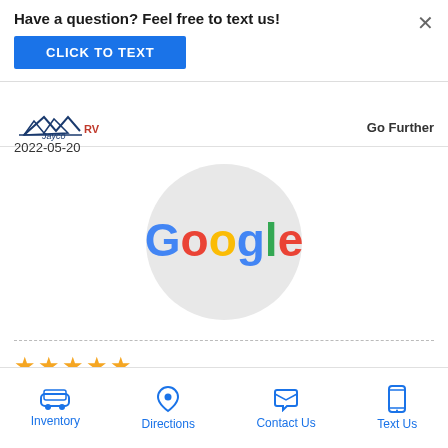Have a question? Feel free to text us!
CLICK TO TEXT
[Figure (logo): Jayco RV logo with wings and text 'Jayco']
Go Further
2022-05-20
[Figure (logo): Google logo inside a light gray circle]
★★★★★
Lori in Service was knowledgeable and friendly. Sami in parts
Inventory
Directions
Contact Us
Text Us